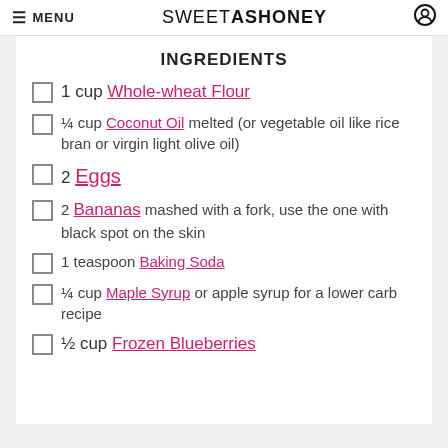≡ MENU   SWEETASHONEY ⊙
INGREDIENTS
1 cup Whole-wheat Flour
¼ cup Coconut Oil melted (or vegetable oil like rice bran or virgin light olive oil)
2 Eggs
2 Bananas mashed with a fork, use the one with black spot on the skin
1 teaspoon Baking Soda
¼ cup Maple Syrup or apple syrup for a lower carb recipe
½ cup Frozen Blueberries